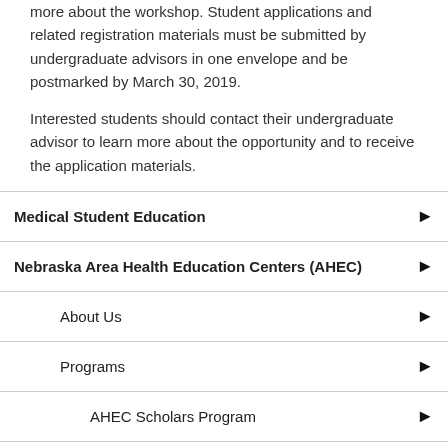more about the workshop. Student applications and related registration materials must be submitted by undergraduate advisors in one envelope and be postmarked by March 30, 2019.
Interested students should contact their undergraduate advisor to learn more about the opportunity and to receive the application materials.
Medical Student Education
Nebraska Area Health Education Centers (AHEC)
About Us
Programs
AHEC Scholars Program
Careers in Health Care Book
Health Profession Pipeline Programs